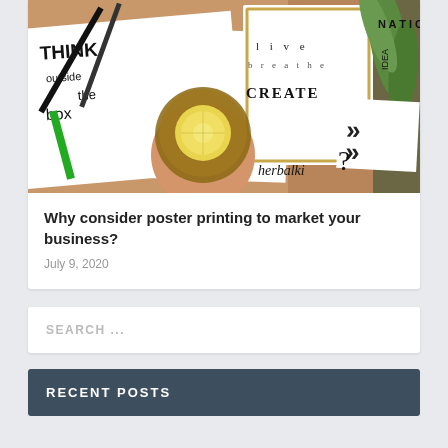[Figure (photo): Photo of motivational typography prints on a wooden table with a cup of tea with lemon, pencils, markers, and a plant. Text visible includes 'THINK outside the box', 'live breathe CREATE', 'IDEA NATION', 'herbalki', and a question mark.]
Why consider poster printing to market your business?
July 9, 2020
SEARCH ...
RECENT POSTS